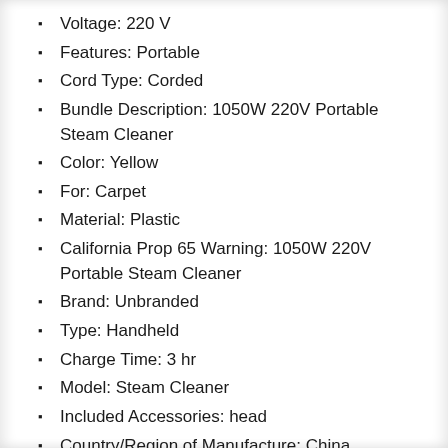Voltage: 220 V
Features: Portable
Cord Type: Corded
Bundle Description: 1050W 220V Portable Steam Cleaner
Color: Yellow
For: Carpet
Material: Plastic
California Prop 65 Warning: 1050W 220V Portable Steam Cleaner
Brand: Unbranded
Type: Handheld
Charge Time: 3 hr
Model: Steam Cleaner
Included Accessories: head
Country/Region of Manufacture: China
Smart Home Protocol: Steam Cleaner
Power: 1000 W